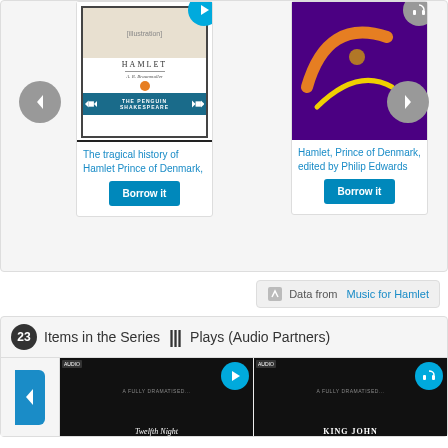[Figure (screenshot): Book cover for The tragical history of Hamlet Prince of Denmark - Penguin Shakespeare edition]
The tragical history of Hamlet Prince of Denmark,
Borrow it
[Figure (screenshot): Book cover for Hamlet, Prince of Denmark edited by Philip Edwards - purple/dark cover]
Hamlet, Prince of Denmark, edited by Philip Edwards
Borrow it
Data from Music for Hamlet
23 Items in the Series ||| Plays (Audio Partners)
[Figure (screenshot): Bottom portion showing two audio book covers: Twelfth Night and King John, part of Plays (Audio Partners) series]
Twelfth Night
KING JOHN